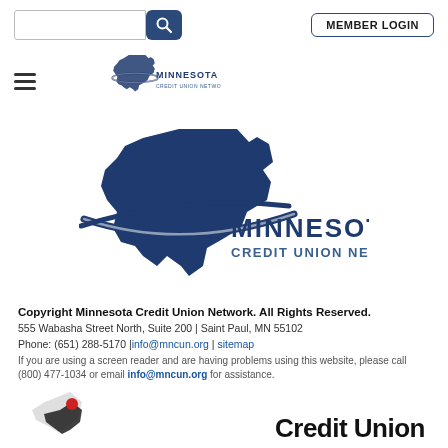[Figure (screenshot): Search input box and blue search button with magnifying glass icon]
[Figure (screenshot): Member Login button with border]
[Figure (logo): Hamburger menu icon (three horizontal lines)]
[Figure (logo): Small Minnesota Credit Union Network logo with state outline and swoosh]
[Figure (logo): Large Minnesota Credit Union Network logo with state silhouette and swoosh]
Copyright Minnesota Credit Union Network.  All Rights Reserved.
555 Wabasha Street North, Suite 200 | Saint Paul, MN 55102
Phone: (651) 288-5170 | info@mncun.org | sitemap
If you are using a screen reader and are having problems using this website, please call (800) 477-1034 or email info@mncun.org for assistance.
[Figure (logo): Partial bottom logo showing Credit Union text and partial icon]